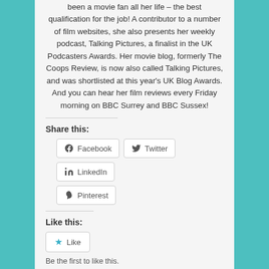been a movie fan all her life – the best qualification for the job! A contributor to a number of film websites, she also presents her weekly podcast, Talking Pictures, a finalist in the UK Podcasters Awards. Her movie blog, formerly The Coops Review, is now also called Talking Pictures, and was shortlisted at this year's UK Blog Awards. And you can hear her film reviews every Friday morning on BBC Surrey and BBC Sussex!
Share this:
Facebook
Twitter
LinkedIn
Pinterest
Like this:
Like
Be the first to like this.